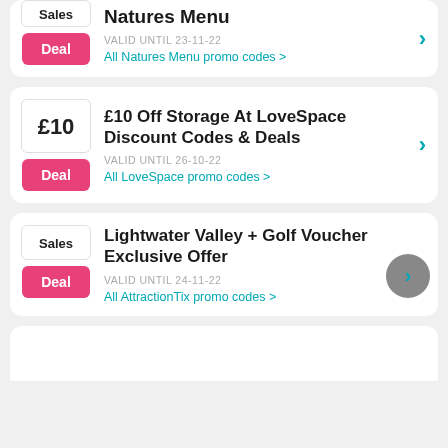Natures Menu deal card – Sales badge, Deal button, valid until 23-11-22, All Natures Menu promo codes
£10 Off Storage At LoveSpace Discount Codes & Deals – £10 badge, Deal button, VALID UNTIL 26-10-22, All LoveSpace promo codes
Lightwater Valley + Golf Voucher Exclusive Offer – Sales badge, Deal button, VALID UNTIL 24-11-22, All AttractionTix promo codes
Partial card at bottom